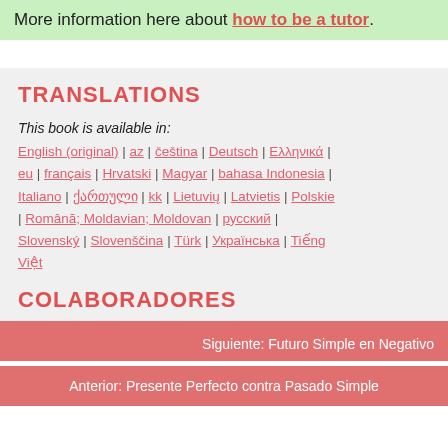More information here about how to be a tutor.
TRANSLATIONS
This book is available in:
English (original) | az | čeština | Deutsch | Ελληνικά | eu | français | Hrvatski | Magyar | bahasa Indonesia | Italiano | ქართული | kk | Lietuvių | Latvietis | Polskie | Română; Moldavian; Moldovan | русский | Slovenský | Slovenščina | Türk | Українська | Tiếng Việt
COLABORADORES
Siguiente: Futuro Simple en Negativo
Anterior: Presente Perfecto contra Pasado Simple